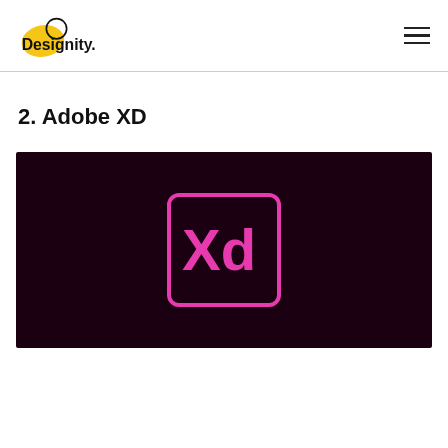Designity
2. Adobe XD
[Figure (screenshot): Adobe XD application logo — pink/magenta 'Xd' text inside a rounded square outline on a very dark maroon/black background]